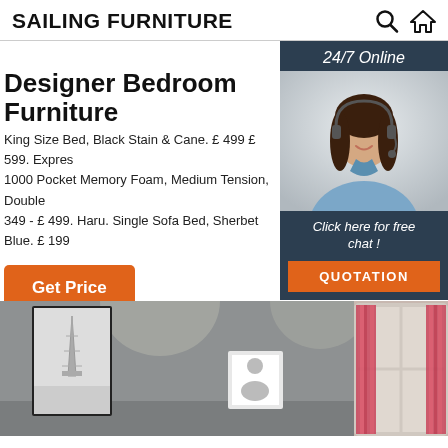SAILING FURNITURE
Designer Bedroom Furniture
King Size Bed, Black Stain & Cane. £ 499 £ 599. Expres 1000 Pocket Memory Foam, Medium Tension, Double 349 - £ 499. Haru. Single Sofa Bed, Sherbet Blue. £ 199
Get Price
24/7 Online
Click here for free chat !
QUOTATION
[Figure (photo): Bedroom interior with grey walls, framed Eiffel Tower print, a smaller framed photo, and a white-framed window with pink/red curtains]